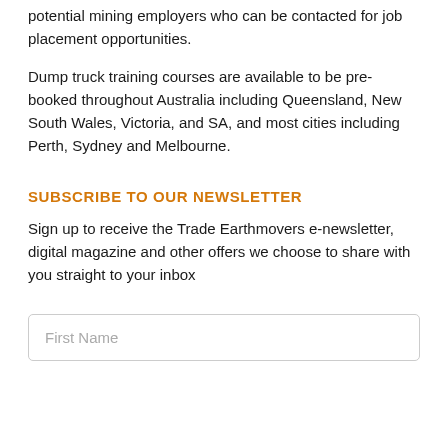potential mining employers who can be contacted for job placement opportunities.
Dump truck training courses are available to be pre-booked throughout Australia including Queensland, New South Wales, Victoria, and SA, and most cities including Perth, Sydney and Melbourne.
SUBSCRIBE TO OUR NEWSLETTER
Sign up to receive the Trade Earthmovers e-newsletter, digital magazine and other offers we choose to share with you straight to your inbox
First Name